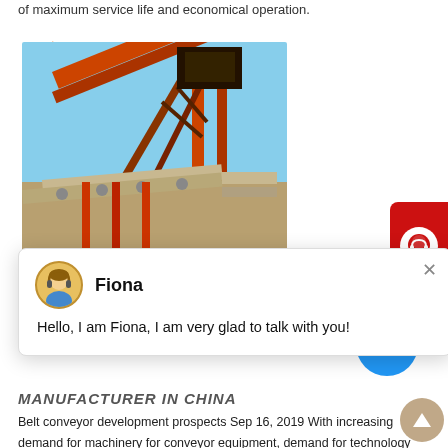of maximum service life and economical operation.
get price
[Figure (photo): Industrial belt conveyor system mounted on a red metal frame structure against a blue sky]
[Figure (screenshot): Chat popup with avatar of Fiona. Header: Fiona. Message: Hello, I am Fiona, I am very glad to talk with you!]
MANUFACTURER IN CHINA
Belt conveyor development prospects Sep 16, 2019 With increasing demand for machinery for conveyor equipment, demand for technology research and development in the belt conveyor machinery industry in China has also increased, and with the emphasis on production safety in China, belt conveyors have become the focus of monitoring and management, quality and performance, and .